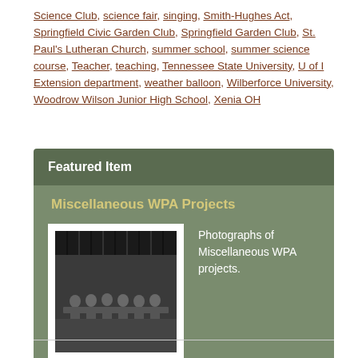Science Club, science fair, singing, Smith-Hughes Act, Springfield Civic Garden Club, Springfield Garden Club, St. Paul's Lutheran Church, summer school, summer science course, Teacher, teaching, Tennessee State University, U of I Extension department, weather balloon, Wilberforce University, Woodrow Wilson Junior High School, Xenia OH
Featured Item
Miscellaneous WPA Projects
[Figure (photo): Black and white photograph of people seated at a table or in a hall, with curtains in the background.]
Photographs of Miscellaneous WPA projects.